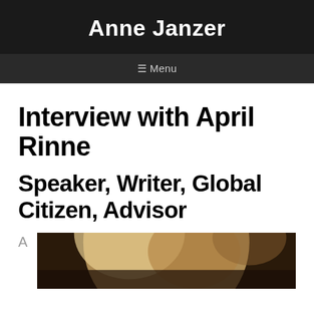Anne Janzer
≡ Menu
Interview with April Rinne
Speaker, Writer, Global Citizen, Advisor
A
[Figure (photo): Portrait photo of April Rinne, partial view showing blonde hair and face against dark background]